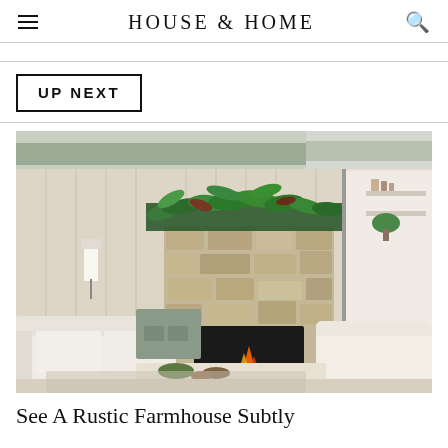HOUSE & HOME
UP NEXT
[Figure (photo): Rustic farmhouse living room with stone fireplace, lush green foliage on mantel, white sofas, gray painted wood beams, and light wood paneled walls.]
See A Rustic Farmhouse Subtly